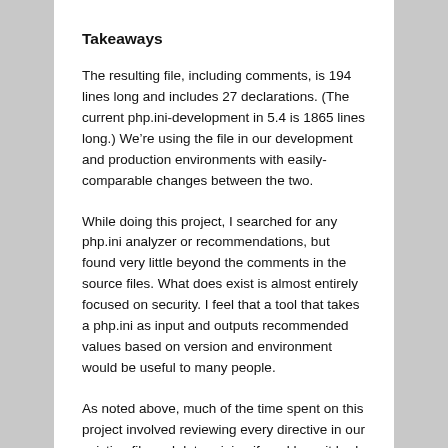Takeaways
The resulting file, including comments, is 194 lines long and includes 27 declarations. (The current php.ini-development in 5.4 is 1865 lines long.) We’re using the file in our development and production environments with easily-comparable changes between the two.
While doing this project, I searched for any php.ini analyzer or recommendations, but found very little beyond the comments in the source files. What does exist is almost entirely focused on security. I feel that a tool that takes a php.ini as input and outputs recommended values based on version and environment would be useful to many people.
As noted above, much of the time spent on this project involved reviewing every directive in our existing file and determining if, and how, it had been changed. This would have been much easier if the distributed files did not contain so many directives that are merely restatements